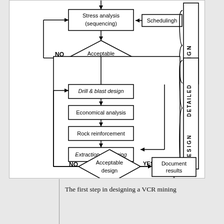[Figure (flowchart): Partial flowchart of VCR mining design process showing: Stress analysis (sequencing) with Schedulingh input, Acceptable design diamond with NO feedback loop and YES path, then DESIGN label on right. Then detailed design section with boxes: Drill & blast design, Economical analysis, Rock reinforcement, Extraction monitoring, then Acceptable design diamond with NO loop and YES to Document results box, then End terminal. DETAILED DESIGN label on right side.]
The first step in designing a VCR mining